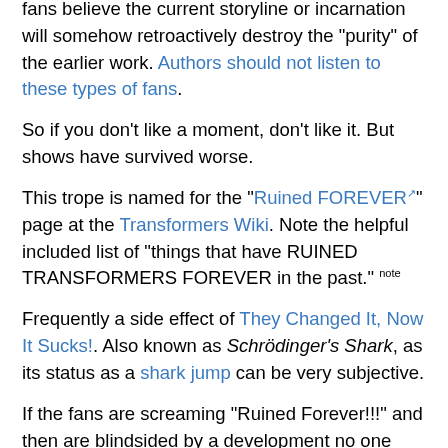fans believe the current storyline or incarnation will somehow retroactively destroy the "purity" of the earlier work. Authors should not listen to these types of fans.
So if you don't like a moment, don't like it. But shows have survived worse.
This trope is named for the "Ruined FOREVER" page at the Transformers Wiki. Note the helpful included list of "things that have RUINED TRANSFORMERS FOREVER in the past." note
Frequently a side effect of They Changed It, Now It Sucks!. Also known as Schrödinger's Shark, as its status as a shark jump can be very subjective.
If the fans are screaming "Ruined Forever!!!" and then are blindsided by a development no one can complain about, then you have And the Fandom Rejoiced.
When the fans are actually right, see Franchise Killer. When the drop in quality is real, but temporary, see Dork Age and